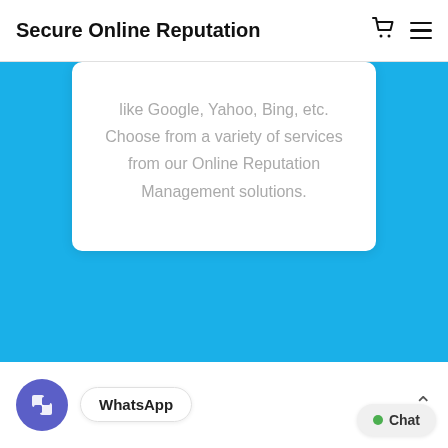Secure Online Reputation
like Google, Yahoo, Bing, etc. Choose from a variety of services from our Online Reputation Management solutions.
WhatsApp
Chat